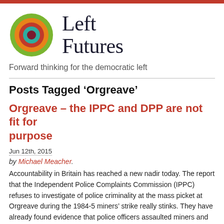[Figure (logo): Left Futures logo: concentric circles in green, orange, red, teal, dark red with 'Left Futures' text beside it]
Forward thinking for the democratic left
Posts Tagged ‘Orgreave’
Orgreave – the IPPC and DPP are not fit for purpose
Jun 12th, 2015
by Michael Meacher.
Accountability in Britain has reached a new nadir today. The report that the Independent Police Complaints Commission (IPPC) refuses to investigate of police criminality at the mass picket at Orgreave during the 1984-5 miners’ strike really stinks. They have already found evidence that police officers assaulted miners and then perverted the course of justice, [...]